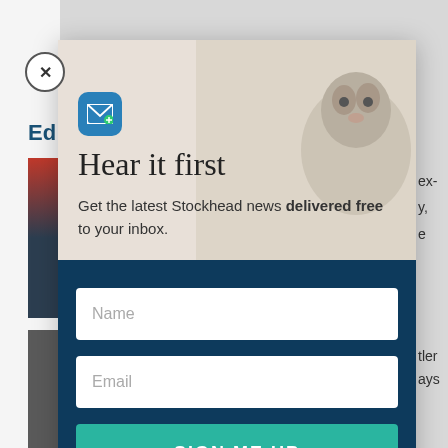[Figure (screenshot): Website newsletter signup modal popup overlay. Shows a 'Hear it first' email subscription modal with a groundhog/animal photo in the top right, a blue mail icon, title 'Hear it first', subtitle text about Stockhead news, and a dark navy form section with Name field, Email field, and a teal 'SIGN ME UP' button. A close button (X) is in the top left corner of the modal.]